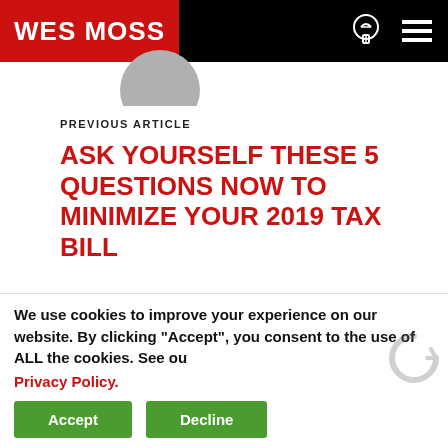WES MOSS
[Figure (photo): Partial avatar/profile photo circle visible at top]
PREVIOUS ARTICLE
ASK YOURSELF THESE 5 QUESTIONS NOW TO MINIMIZE YOUR 2019 TAX BILL
NEXT ARTICLE
HOW TO GET WHAT YOU WAN...
We use cookies to improve your experience on our website. By clicking "Accept", you consent to the use of ALL the cookies. See ou Privacy Policy.